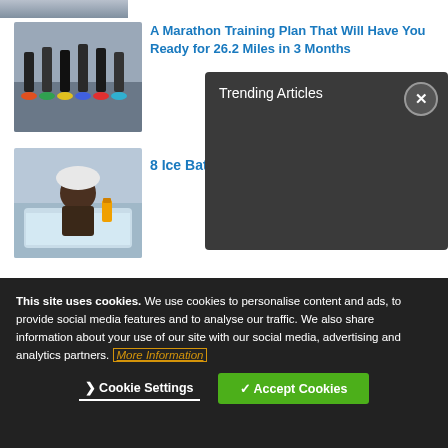[Figure (photo): Top partial image strip of runners]
[Figure (photo): Runners racing in a marathon, legs and colorful shoes visible]
A Marathon Training Plan That Will Have You Ready for 26.2 Miles in 3 Months
[Figure (other): Trending Articles overlay panel with close button X]
[Figure (photo): Man sitting in an ice bath with towel on head]
8 Ice Bat…
Explore Similar Articles
This site uses cookies. We use cookies to personalise content and ads, to provide social media features and to analyse our traffic. We also share information about your use of our site with our social media, advertising and analytics partners. More Information
Cookie Settings
Accept Cookies